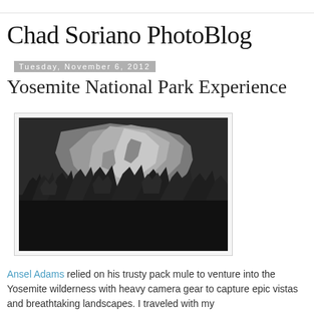Chad Soriano PhotoBlog
Tuesday, November 6, 2012
Yosemite National Park Experience
[Figure (photo): Black and white photograph of El Capitan granite rock formation at Yosemite National Park, with dense evergreen trees in the foreground and a dark sky background.]
Ansel Adams relied on his trusty pack mule to venture into the Yosemite wilderness with heavy camera gear to capture epic vistas and breathtaking landscapes. I traveled with my